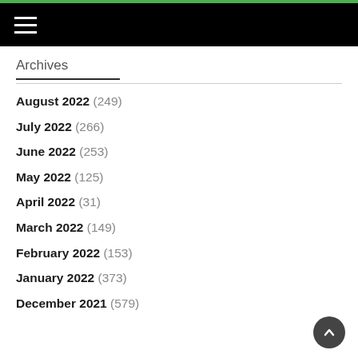Archives
August 2022 (249)
July 2022 (266)
June 2022 (253)
May 2022 (125)
April 2022 (31)
March 2022 (149)
February 2022 (153)
January 2022 (373)
December 2021 (579)